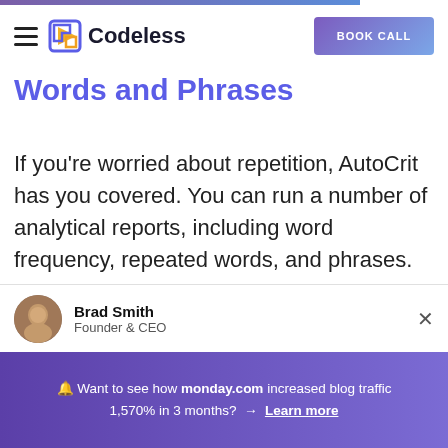Codeless | BOOK CALL
Words and Phrases
If you're worried about repetition, AutoCrit has you covered. You can run a number of analytical reports, including word frequency, repeated words, and phrases.
Brad Smith
Founder & CEO
🔔 Want to see how monday.com increased blog traffic 1,570% in 3 months? → Learn more